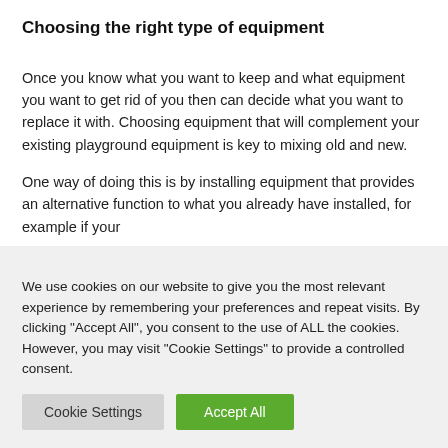Choosing the right type of equipment
Once you know what you want to keep and what equipment you want to get rid of you then can decide what you want to replace it with. Choosing equipment that will complement your existing playground equipment is key to mixing old and new.
One way of doing this is by installing equipment that provides an alternative function to what you already have installed, for example if your
We use cookies on our website to give you the most relevant experience by remembering your preferences and repeat visits. By clicking "Accept All", you consent to the use of ALL the cookies. However, you may visit "Cookie Settings" to provide a controlled consent.
Cookie Settings | Accept All